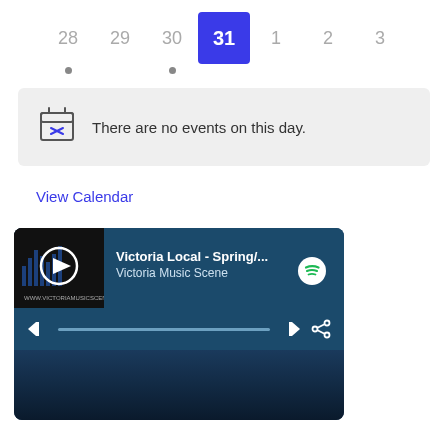[Figure (screenshot): Calendar date picker row showing dates 28, 29, 30, 31 (selected/highlighted in blue), 1, 2, 3. Dots appear under 28 and 30.]
[Figure (infographic): No events box with calendar icon and text: There are no events on this day.]
View Calendar
[Figure (screenshot): Spotify music player widget showing 'Victoria Local - Spring/...' by Victoria Music Scene with playback controls and Spotify logo.]